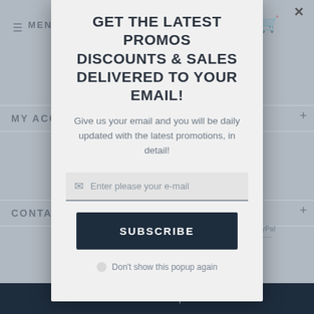[Figure (screenshot): Background of a mobile website with navigation menu, My Account section, Contact Info section, payment icons (Visa, PayPal), copyright text, and a dark Back to top footer bar. A modal popup overlay is displayed on top.]
GET THE LATEST PROMOS DISCOUNTS & SALES DELIVERED TO YOUR EMAIL!
Give us your email and you will be daily updated with the latest promotions, in detail!
Enter please your e-mail
SUBSCRIBE
Don't show this popup again